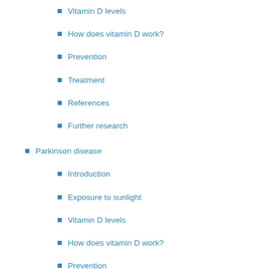Vitamin D levels
How does vitamin D work?
Prevention
Treatment
References
Further research
Parkinson disease
Introduction
Exposure to sunlight
Vitamin D levels
How does vitamin D work?
Prevention
Treatment
References